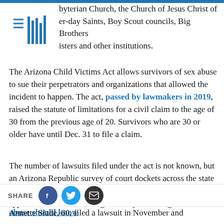byterian Church, the Church of Jesus Christ of er-day Saints, Boy Scout councils, Big Brothers isters and other institutions.
The Arizona Child Victims Act allows survivors of sex abuse to sue their perpetrators and organizations that allowed the incident to happen. The act, passed by lawmakers in 2019, raised the statute of limitations for a civil claim to the age of 30 from the previous age of 20. Survivors who are 30 or older have until Dec. 31 to file a claim.
The number of lawsuits filed under the act is not known, but an Arizona Republic survey of court dockets across the state indicates the number is well over 300. So far, the majority appear to have been filed against Boy Scout organizations.
AVAILABLE RESOURCES: What victims of child sex abuse should know
Annette Slade, 60, filed a lawsuit in November and